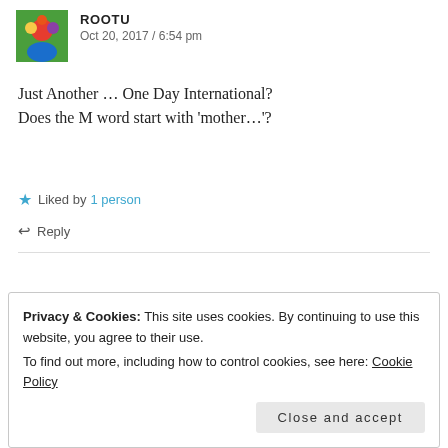ROOTU
Oct 20, 2017 / 6:54 pm
Just Another … One Day International?
Does the M word start with 'mother…'?
★ Liked by 1 person
↩ Reply
THELEGGLANCE
Oct 20, 2017 / 7:16 pm
Privacy & Cookies: This site uses cookies. By continuing to use this website, you agree to their use.
To find out more, including how to control cookies, see here: Cookie Policy
Close and accept